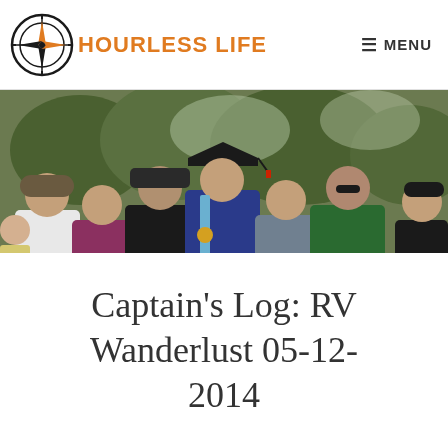HOURLESS LIFE   MENU
[Figure (photo): Group photo of six people posing outdoors at a graduation ceremony. A young man in the center wears a graduation cap, blue gown and sash with a medal. Others include older couple, a man in dark shirt with sunglasses, a woman in gray, and a man in a green Adidas jacket. Trees and buildings visible in background.]
Captain's Log: RV Wanderlust 05-12-2014